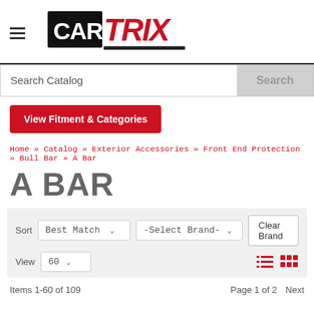[Figure (logo): CARTRIX automotive parts website logo — CAR in black box, TRIX in red italic bold text]
Search Catalog
View Fitment & Categories
Home » Catalog » Exterior Accessories » Front End Protection » Bull Bar » A Bar
A BAR
Sort  Best Match  -Select Brand-  Clear Brand
View  60
Items 1-60 of 109  Page 1 of 2  Next